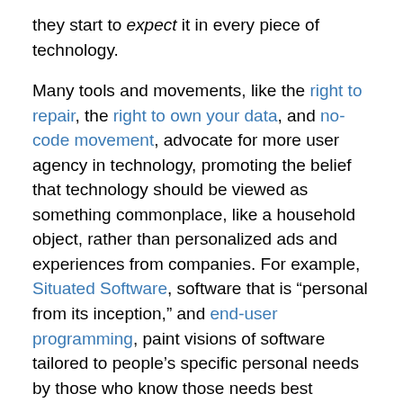they start to expect it in every piece of technology.
Many tools and movements, like the right to repair, the right to own your data, and no-code movement, advocate for more user agency in technology, promoting the belief that technology should be viewed as something commonplace, like a household object, rather than personalized ads and experiences from companies. For example, Situated Software, software that is “personal from its inception,” and end-user programming, paint visions of software tailored to people’s specific personal needs by those who know those needs best (ourselves), so that anyone can seize the magic and change the technology they rely on.
How can software help break down this divide of power and give everyone the ability to wield magic?